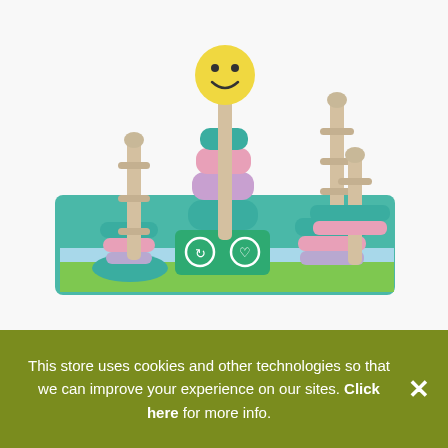[Figure (photo): A colorful wooden children's stacking toy on a white background. The toy features multiple wooden posts with geometric shapes (squares, circles, flower-shapes) stacked on them in pastel colors (teal, pink, lavender). The center post has a yellow smiley face ball on top. The base is a teal/green rectangular board with a scenic illustration. A green card in the middle shows a recycle icon and a heart icon.]
This store uses cookies and other technologies so that we can improve your experience on our sites. Click here for more info.